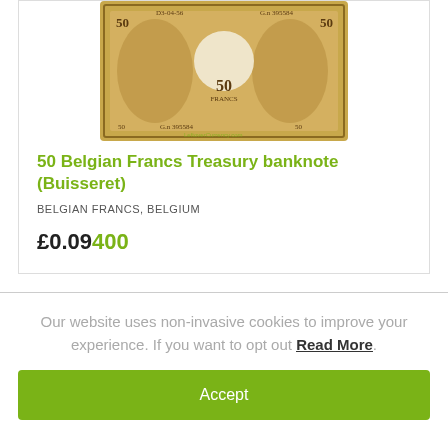[Figure (photo): A 50 Belgian Francs Treasury banknote (Buisseret), yellowish-brown color with serial number G.n 395584, showing figures and a white circular element, with LeftoverCurrency.com watermark.]
50 Belgian Francs Treasury banknote (Buisseret)
BELGIAN FRANCS, BELGIUM
£0.09400
Our website uses non-invasive cookies to improve your experience. If you want to opt out Read More.
Accept